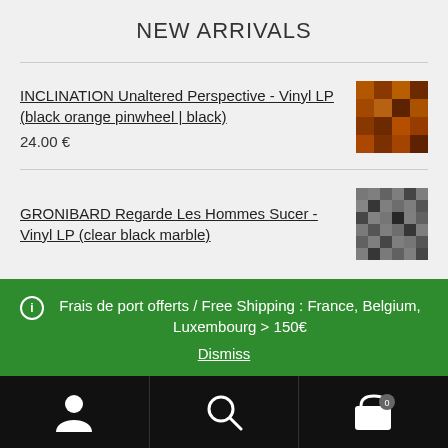NEW ARRIVALS
INCLINATION Unaltered Perspective - Vinyl LP (black orange pinwheel | black)
24.00 €
GRONIBARD Regarde Les Hommes Sucer - Vinyl LP (clear black marble)
Frais de port offerts / Free Shipping : France, Belgium, Luxembourg > 150€
Dismiss
[Figure (screenshot): Bottom navigation bar with user account icon, search icon, and shopping cart icon with badge showing 0]